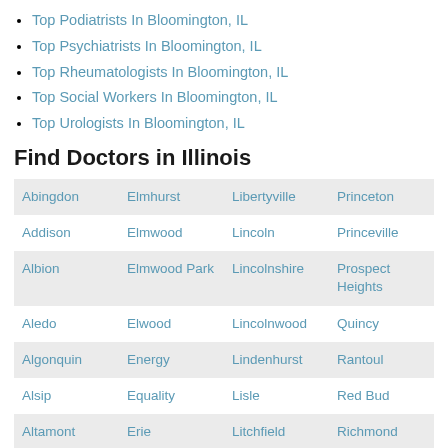Top Podiatrists In Bloomington, IL
Top Psychiatrists In Bloomington, IL
Top Rheumatologists In Bloomington, IL
Top Social Workers In Bloomington, IL
Top Urologists In Bloomington, IL
Find Doctors in Illinois
| Col1 | Col2 | Col3 | Col4 |
| --- | --- | --- | --- |
| Abingdon | Elmhurst | Libertyville | Princeton |
| Addison | Elmwood | Lincoln | Princeville |
| Albion | Elmwood Park | Lincolnshire | Prospect Heights |
| Aledo | Elwood | Lincolnwood | Quincy |
| Algonquin | Energy | Lindenhurst | Rantoul |
| Alsip | Equality | Lisle | Red Bud |
| Altamont | Erie | Litchfield | Richmond |